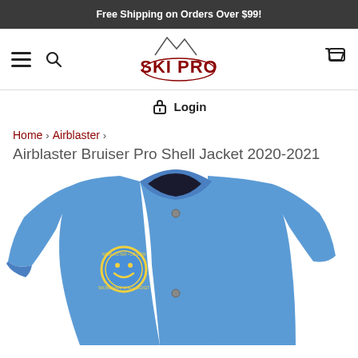Free Shipping on Orders Over $99!
[Figure (logo): Ski Pro logo with mountain peaks above text]
Login
Home > Airblaster >
Airblaster Bruiser Pro Shell Jacket 2020-2021
[Figure (photo): Blue Airblaster Bruiser Pro Shell Jacket with smiley face emblem on chest, coach-style jacket with snap buttons]